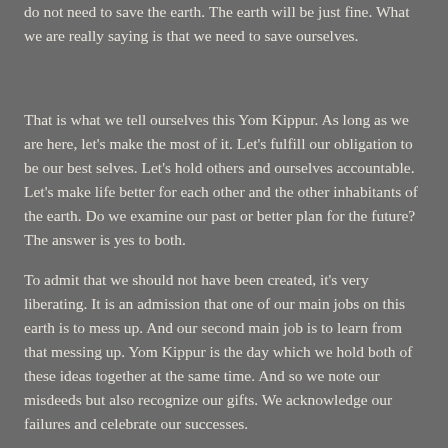do not need to save the earth. The earth will be just fine. What we are really saying is that we need to save ourselves.
That is what we tell ourselves this Yom Kippur. As long as we are here, let's make the most of it. Let's fulfill our obligation to be our best selves. Let's hold others and ourselves accountable. Let's make life better for each other and the other inhabitants of the earth. Do we examine our past or better plan for the future? The answer is yes to both.
To admit that we should not have been created, it's very liberating. It is an admission that one of our main jobs on this earth is to mess up. And our second main job is to learn from that messing up. Yom Kippur is the day which we hold both of these ideas together at the same time. And so we note our misdeeds but also recognize our gifts. We acknowledge our failures and celebrate our successes.